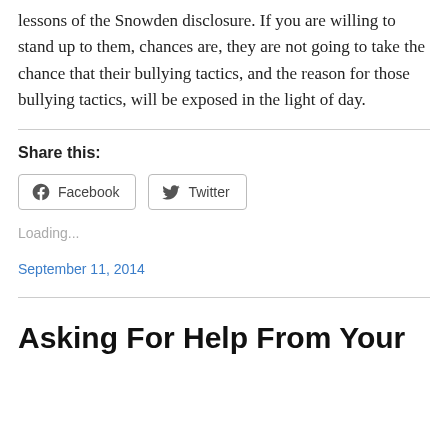lessons of the Snowden disclosure. If you are willing to stand up to them, chances are, they are not going to take the chance that their bullying tactics, and the reason for those bullying tactics, will be exposed in the light of day.
Share this:
Facebook  Twitter
Loading...
September 11, 2014
Asking For Help From Your